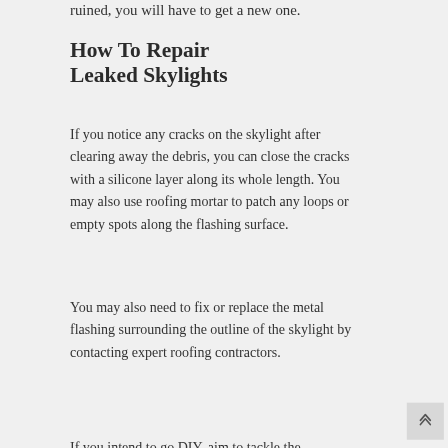ruined, you will have to get a new one.
How To Repair Leaked Skylights
If you notice any cracks on the skylight after clearing away the debris, you can close the cracks with a silicone layer along its whole length. You may also use roofing mortar to patch any loops or empty spots along the flashing surface.
You may also need to fix or replace the metal flashing surrounding the outline of the skylight by contacting expert roofing contractors.
If you intend to go DIY, aim to tackle the